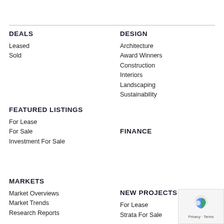DEALS
Leased
Sold
DESIGN
Architecture
Award Winners
Construction
Interiors
Landscaping
Sustainability
FEATURED LISTINGS
For Lease
For Sale
Investment For Sale
FINANCE
MARKETS
Market Overviews
Market Trends
Research Reports
NEW PROJECTS
For Lease
Strata For Sale